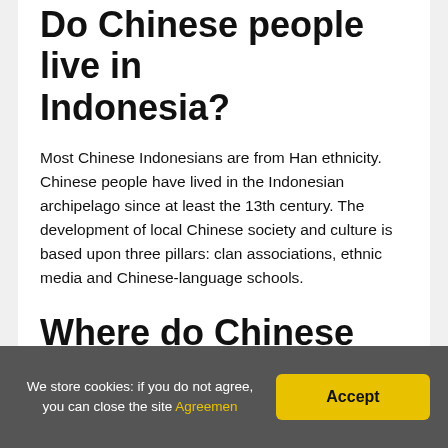Do Chinese people live in Indonesia?
Most Chinese Indonesians are from Han ethnicity. Chinese people have lived in the Indonesian archipelago since at least the 13th century. The development of local Chinese society and culture is based upon three pillars: clan associations, ethnic media and Chinese-language schools.
Where do Chinese live in Indonesia?
Of the total Chinese population, most live in the towns and
We store cookies: if you do not agree, you can close the site Agreemen